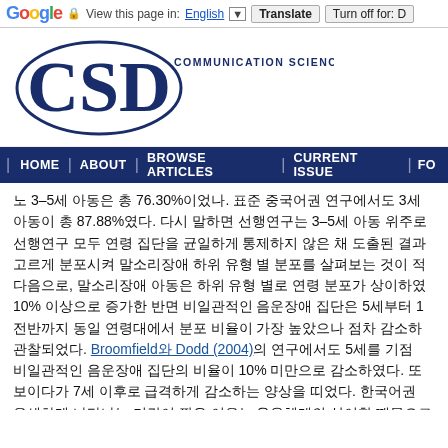Google  View this page in: English [▼] Translate  Turn off for: D
[Figure (logo): CSD Communication Sciences & Disorders journal logo with large serif letters CSD inside an oval border]
| HOME | ABOUT | BROWSE ARTICLES | CURRENT ISSUE | FO
노 3–5세 아동은 총 76.30%이었나. 표준 중국어권 연구에서도 3세 아동이 총 87.88%였다. 다시 말하면 선행연구는 3–5세 아동 위주로 선행연구 모두 연령 집단을 균일하게 통제하지 않은 채 도출된 결과 고르게 분포시켜 말소리장애 하위 유형 별 분포를 살펴보는 것이 적 다음으로, 말소리장애 아동은 하위 유형 별로 연령 분포가 상이하였 10% 이상으로 증가한 반면 비일관적인 음운장애 집단은 5세부터 1 전반까지 동일 연령대에서 분포 비율이 가장 높았으나 점차 감소하 관찰되었다. Broomfield와 Dodd (2004)의 연구에서도 5세를 기점 비일관적인 음운장애 집단의 비율이 10% 미만으로 감소하였다. 또 보이다가 7세 이후로 급격하게 감소하는 양상을 띠었다. 한국어권 우세하게 나타나는 기간이 짧은 이유는 음운체계의 상이함 때문으로